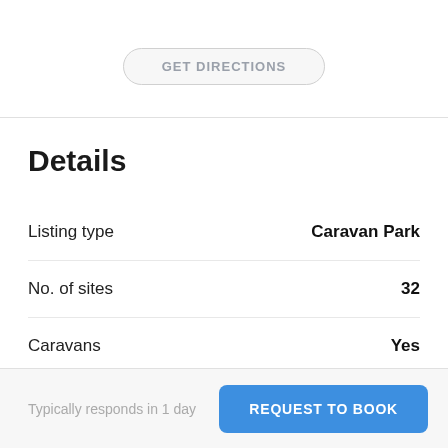GET DIRECTIONS
Details
| Field | Value |
| --- | --- |
| Listing type | Caravan Park |
| No. of sites | 32 |
| Caravans | Yes |
Typically responds in 1 day
REQUEST TO BOOK